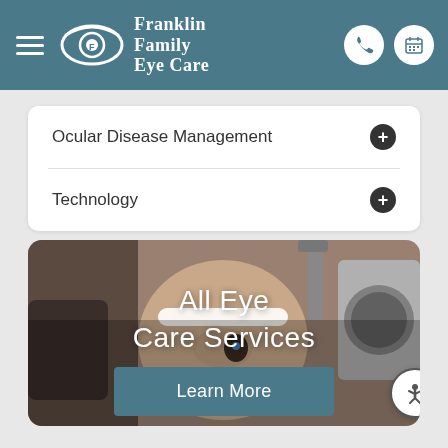Franklin Family Eye Care
Ocular Disease Management
Technology
[Figure (photo): Woman undergoing eye examination with ophthalmology equipment, text overlay reading 'All Eye Care Services' and a 'Learn More' button]
All Eye Care Services
Learn More